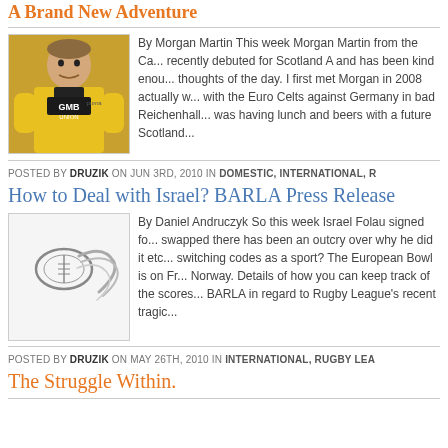A Brand New Adventure
[Figure (photo): Photo of a rugby player in yellow GMB Union jersey]
By Morgan Martin This week Morgan Martin from the Ca... recently debuted for Scotland A and has been kind enou... thoughts of the day. I first met Morgan in 2008 actually w... with the Euro Celts against Germany in bad Reichenhall... was having lunch and beers with a future Scotland...
POSTED BY DRUZIK ON JUN 3RD, 2010 IN DOMESTIC, INTERNATIONAL, R
How to Deal with Israel? BARLA Press Release
[Figure (logo): Rugby league ball logo with swoosh lines]
By Daniel Andruczyk So this week Israel Folau signed fo... swapped there has been an outcry over why he did it etc... switching codes as a sport? The European Bowl is on Fr... Norway. Details of how you can keep track of the scores... BARLA in regard to Rugby League's recent tragic...
POSTED BY DRUZIK ON MAY 26TH, 2010 IN INTERNATIONAL, RUGBY LEA
The Struggle Within.